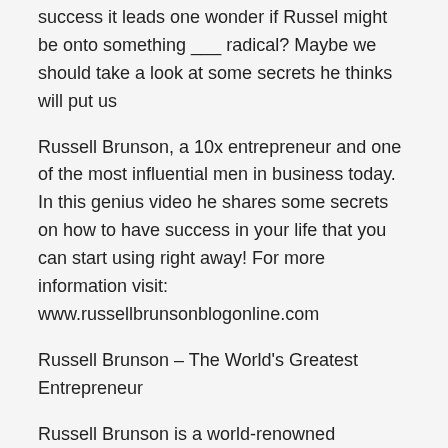success it leads one wonder if Russel might be onto something ___ radical? Maybe we should take a look at some secrets he thinks will put us
Russell Brunson, a 10x entrepreneur and one of the most influential men in business today. In this genius video he shares some secrets on how to have success in your life that you can start using right away! For more information visit: www.russellbrunsonblogonline.com
Russell Brunson – The World's Greatest Entrepreneur
Russell Brunson is a world-renowned entrepreneur. He has been named on the Forbes list of billionaires and his endeavors have earned him tens of millions in revenue annually. His signature 10x Secrets system will teach you how to take your business plan from idea to millionaire status, with or without experience!
The day has finally arrived! I'm so excited to share with you my